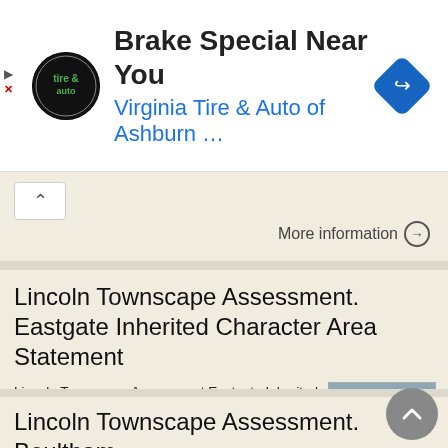[Figure (screenshot): Advertisement banner: Virginia Tire & Auto of Ashburn brake special ad with logo and navigation icon]
[Figure (screenshot): Collapsed search result card with up-arrow button and More information link]
Lincoln Townscape Assessment. Eastgate Inherited Character Area Statement
Lincoln Townscape Assessment Eastgate Inherited Character Area Statement June 2009 Page 2 of 19 Table of Contents Page Overview 2 Historical Development 2 Urban form 4 Views 10 Condition of Buildings and
[Figure (photo): Thumbnail image of a historic building/castle and a document preview thumbnail]
Lincoln Townscape Assessment. Boultham Park Inherited Character Area Statement